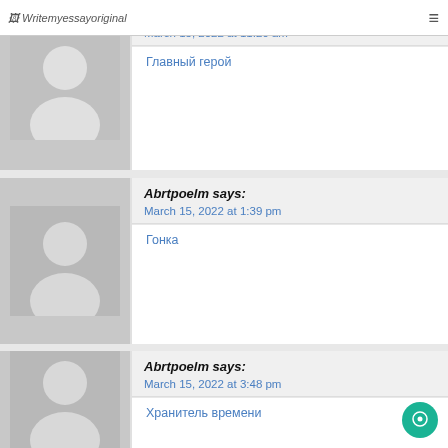Writemyessayoriginal
Abrtpoelm says:
March 15, 2022 at 11:26 am
Главный герой
Abrtpoelm says:
March 15, 2022 at 1:39 pm
Гонка
Abrtpoelm says:
March 15, 2022 at 3:48 pm
Хранитель времени